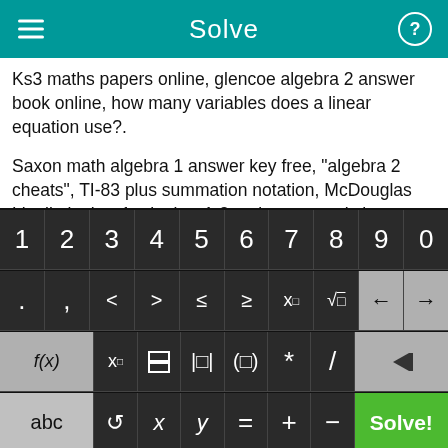Solve
Ks3 maths papers online, glencoe algebra 2 answer book online, how many variables does a linear equation use?.
Saxon math algebra 1 answer key free, "algebra 2 cheats", TI-83 plus summation notation, McDouglas Littell algebra 1, algebra 1-2 an incremental cheat.
Logarithmic Expressions, I need to find the scale factor for Prealgebra with a square that has a decimal, Converting fractions to decimals worksheets for 5th grade, Quadratic
[Figure (screenshot): On-screen math keyboard with digit row (1-0), symbol row (. , < > ≤ ≥ x^□ √□ backspace left/right arrows), function row (f(x), x_□, fraction, |□|, (□), *, /, delete), and bottom row (abc, ↺, x, y, =, +, −, Solve! green button)]